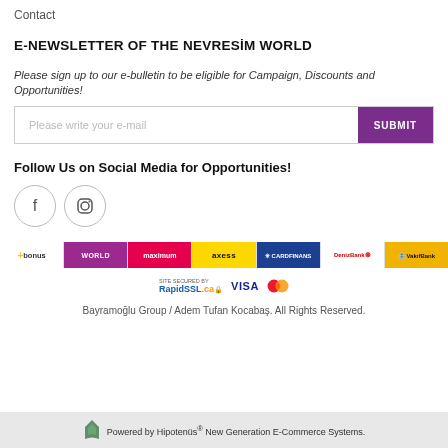Contact
E-NEWSLETTER OF THE NEVRESİM WORLD
Please sign up to our e-bulletin to be eligible for Campaign, Discounts and Opportunities!
Please write your e-mail | SUBMIT
Follow Us on Social Media for Opportunities!
[Figure (infographic): Facebook and Instagram social media icon circles]
[Figure (infographic): Payment logos: bonus, WORLD, maximum, axess, CARDFINANS, DenizBank, VakifBank]
[Figure (infographic): RapidSSL, VISA, Mastercard security logos]
Bayramoğlu Group / Adem Tufan Kocabaş. All Rights Reserved.
Powered by Hipotenüs® New Generation E-Commerce Systems.